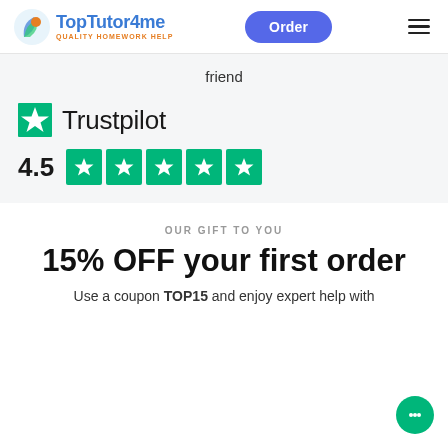TopTutor4me — QUALITY HOMEWORK HELP | Order
friend
[Figure (logo): Trustpilot logo with green star and text 'Trustpilot']
[Figure (infographic): Trustpilot rating 4.5 shown with 5 green star boxes]
OUR GIFT TO YOU
15% OFF your first order
Use a coupon TOP15 and enjoy expert help with